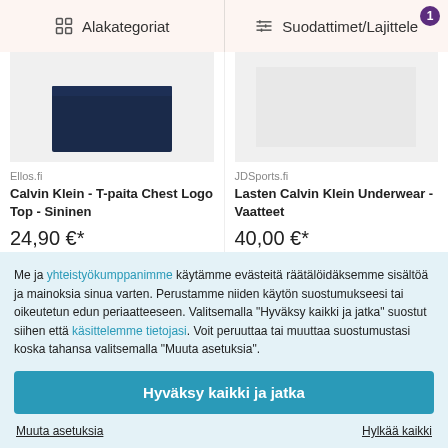Alakategoriat | Suodattimet/Lajittele
[Figure (photo): Calvin Klein T-paita navy blue product image on light grey background]
Ellos.fi
Calvin Klein - T-paita Chest Logo Top - Sininen
24,90 €*
[Figure (photo): Lasten Calvin Klein Underwear product image on light grey background]
JDSports.fi
Lasten Calvin Klein Underwear - Vaatteet
40,00 €*
Me ja yhteistyökumppanimme käytämme evästeitä räätälöidäksemme sisältöä ja mainoksia sinua varten. Perustamme niiden käytön suostumukseesi tai oikeutetun edun periaatteeseen. Valitsemalla "Hyväksy kaikki ja jatka" suostut siihen että käsittelemme tietojasi. Voit peruuttaa tai muuttaa suostumustasi koska tahansa valitsemalla "Muuta asetuksia".
Hyväksy kaikki ja jatka
Muuta asetuksia
Hylkää kaikki